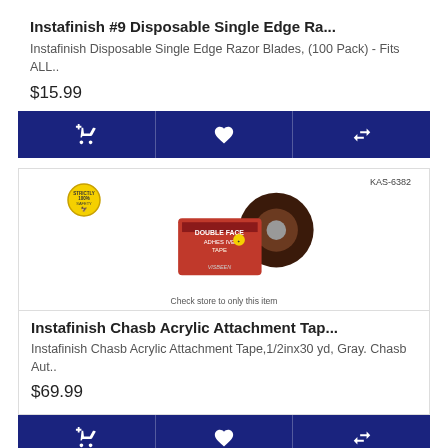Instafinish #9 Disposable Single Edge Ra...
Instafinish Disposable Single Edge Razor Blades, (100 Pack) - Fits ALL..
$15.99
[Figure (screenshot): Three action buttons (cart, heart, compare) on dark blue background]
[Figure (photo): Product photo of Instafinish Chasb Acrylic Attachment Tape with red box and tape roll, SKU KAS-6382, yellow logo badge, caption: Check store to only this item]
Instafinish Chasb Acrylic Attachment Tap...
Instafinish Chasb Acrylic Attachment Tape,1/2inx30 yd, Gray. Chasb Aut..
$69.99
[Figure (screenshot): Three action buttons (cart, heart, compare) on dark blue background]